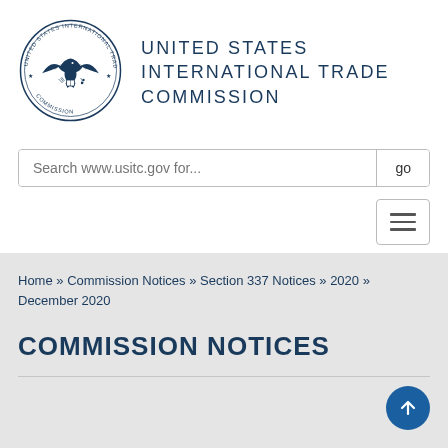[Figure (logo): United States International Trade Commission circular seal with eagle and text]
UNITED STATES INTERNATIONAL TRADE COMMISSION
Search www.usitc.gov for...
Home » Commission Notices » Section 337 Notices » 2020 » December 2020
COMMISSION NOTICES